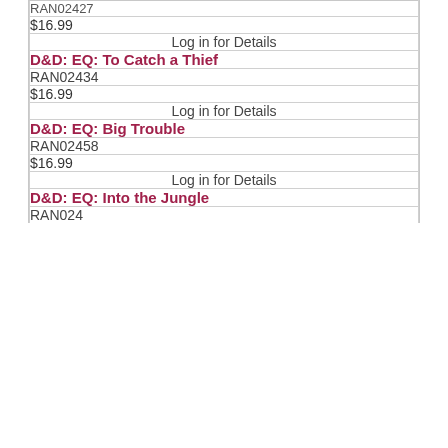| (truncated) |
| $16.99 |
| Log in for Details |
| D&D: EQ: To Catch a Thief |
| RAN02434 |
| $16.99 |
| Log in for Details |
| D&D: EQ: Big Trouble |
| RAN02458 |
| $16.99 |
| Log in for Details |
| D&D: EQ: Into the Jungle |
| RAN024... |